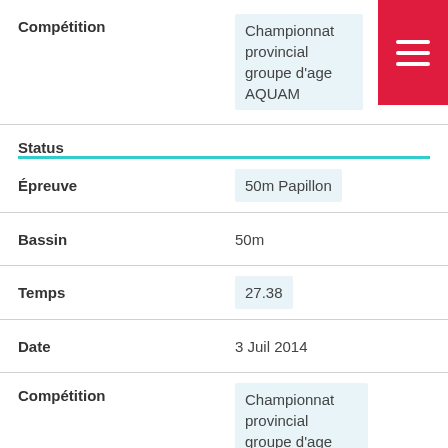| Field | Value |
| --- | --- |
| Compétition | Championnat provincial groupe d'age AQUAM |
| Status |  |
| Épreuve | 50m Papillon |
| Bassin | 50m |
| Temps | 27.38 |
| Date | 3 Juil 2014 |
| Compétition | Championnat provincial groupe d'age AQUAM |
| Status |  |